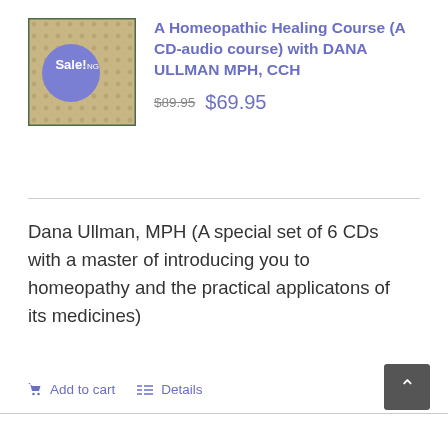[Figure (photo): Product image of a Homeopathic Healing Course CD with a 'Sale!' badge overlaid in purple circle]
A Homeopathic Healing Course (A CD-audio course) with DANA ULLMAN MPH, CCH
$89.95  $69.95
Dana Ullman, MPH (A special set of 6 CDs with a master of introducing you to homeopathy and the practical applicatons of its medicines)
Add to cart   Details